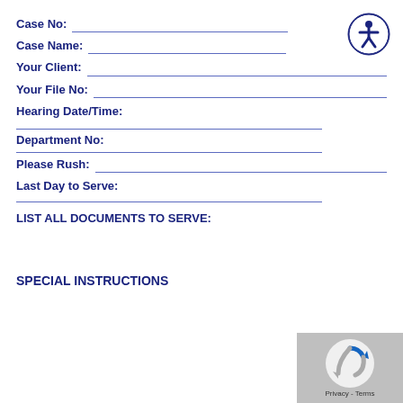Case No:
Case Name:
Your Client:
Your File No:
Hearing Date/Time:
Department No:
Please Rush:
Last Day to Serve:
LIST ALL DOCUMENTS TO SERVE:
SPECIAL INSTRUCTIONS
[Figure (other): Accessibility icon - circular blue badge with person symbol]